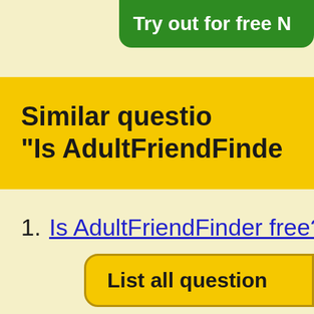[Figure (other): Green rounded button partially visible at top right with white bold text 'Try out for free N']
Similar questio
"Is AdultFriendFinde
1. Is AdultFriendFinder free?
[Figure (other): Yellow rounded button partially visible at bottom with bold text 'List all question']